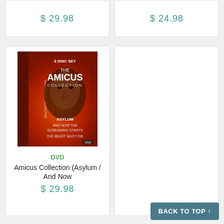$ 29.98
$ 24.98
[Figure (photo): DVD box set cover for The Amicus Collection (3 Disc Set) featuring a creepy face with red flames, titles: Asylum, And Now the Screaming Starts, The Beast Must Die]
DVD
Amicus Collection (Asylum / And Now
$ 29.98
BACK TO TOP ↑